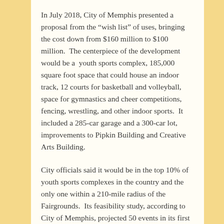In July 2018, City of Memphis presented a proposal from the “wish list” of uses, bringing the cost down from $160 million to $100 million. The centerpiece of the development would be a youth sports complex, 185,000 square foot space that could house an indoor track, 12 courts for basketball and volleyball, space for gymnastics and cheer competitions, fencing, wrestling, and other indoor sports. It included a 285-car garage and a 300-car lot, improvements to Pipkin Building and Creative Arts Building.
City officials said it would be in the top 10% of youth sports complexes in the country and the only one within a 210-mile radius of the Fairgrounds. Its feasibility study, according to City of Memphis, projected 50 events in its first year and reach 80 by the fifth year.
It was projected to create a $1 billion economic impact over 30 years.